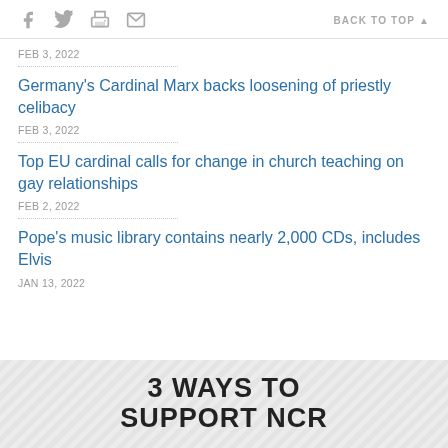Social share icons | BACK TO TOP
FEB 3, 2022
Germany's Cardinal Marx backs loosening of priestly celibacy
FEB 3, 2022
Top EU cardinal calls for change in church teaching on gay relationships
FEB 2, 2022
Pope's music library contains nearly 2,000 CDs, includes Elvis
JAN 13, 2022
3 WAYS TO SUPPORT NCR